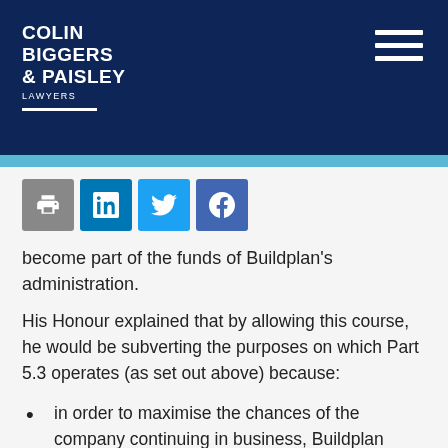COLIN BIGGERS & PAISLEY LAWYERS
[Figure (infographic): Social sharing icons: print, LinkedIn, Twitter, Facebook]
become part of the funds of Buildplan's administration.
His Honour explained that by allowing this course, he would be subverting the purposes on which Part 5.3 operates (as set out above) because:
in order to maximise the chances of the company continuing in business, Buildplan would need as much cash as it could get to fund the administration, any deed of company arrangement and the subsequent continuation of the business; and
if there was a winding-up, a payment that